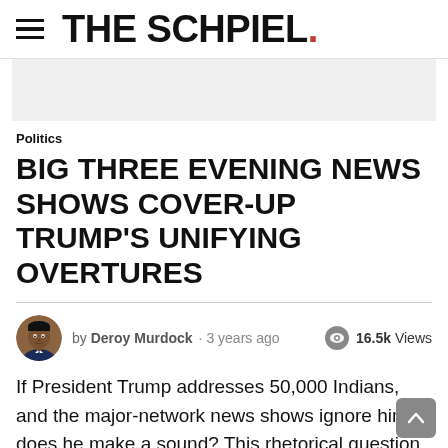THE SCHPIEL.
[Figure (other): Light gray advertisement banner placeholder]
Politics
BIG THREE EVENING NEWS SHOWS COVER-UP TRUMP'S UNIFYING OVERTURES
by Deroy Murdock · 3 years ago · 16.5k Views
If President Trump addresses 50,000 Indians, and the major-network news shows ignore him, does he make a sound? This rhetorical question has real-